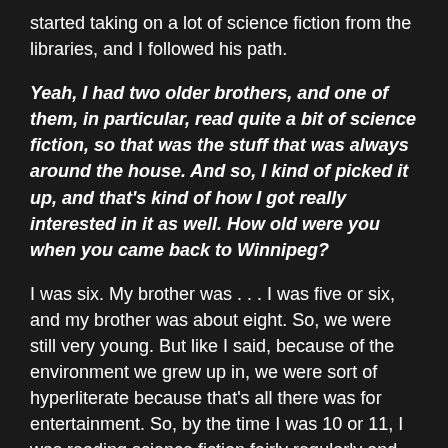started taking on a lot of science fiction from the libraries, and I followed his path.
Yeah, I had two older brothers, and one of them, in particular, read quite a bit of science fiction, so that was the stuff that was always around the house. And so, I kind of picked it up, and that's kind of how I got really interested in it as well. How old were you when you came back to Winnipeg?
I was six. My brother was . . . I was five or six, and my brother was about eight. So, we were still very young. But like I said, because of the environment we grew up in, we were sort of hyperliterate because that's all there was for entertainment. So, by the time I was 10 or 11, I was reading science fiction fairly regularly and already thinking about writing, writing as play, as just an extension of both reading and your usual childish sort of